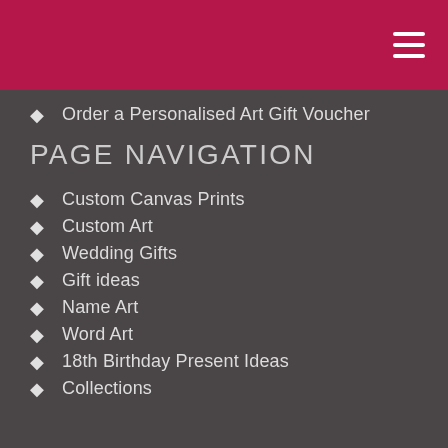Order a Personalised Art Gift Voucher
PAGE NAVIGATION
Custom Canvas Prints
Custom Art
Wedding Gifts
Gift ideas
Name Art
Word Art
18th Birthday Present Ideas
Collections